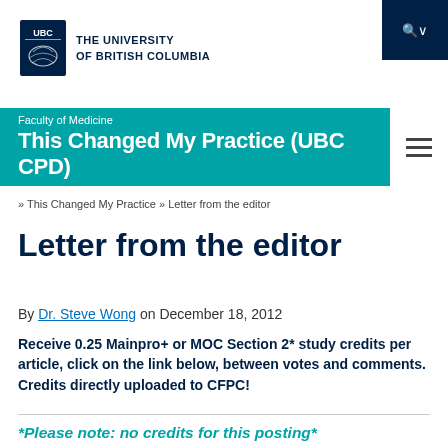THE UNIVERSITY OF BRITISH COLUMBIA
Faculty of Medicine — This Changed My Practice (UBC CPD)
» This Changed My Practice » Letter from the editor
Letter from the editor
By Dr. Steve Wong on December 18, 2012
Receive 0.25 Mainpro+ or MOC Section 2* study credits per article, click on the link below, between votes and comments. Credits directly uploaded to CFPC!
*Please note: no credits for this posting*